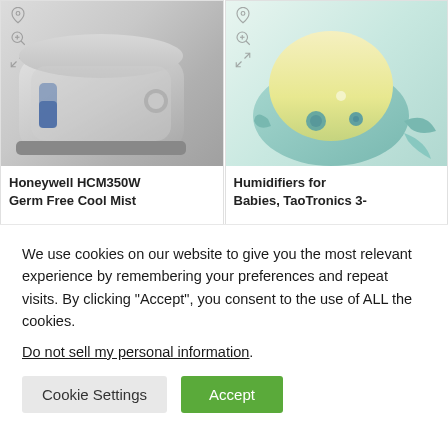[Figure (photo): Product image of Honeywell HCM350W Germ Free Cool Mist humidifier - a silver/gray appliance]
[Figure (photo): Product image of TaoTronics baby humidifier shaped like a whale with blue body and yellow/cream top glow]
Honeywell HCM350W Germ Free Cool Mist
Humidifiers for Babies, TaoTronics 3-
We use cookies on our website to give you the most relevant experience by remembering your preferences and repeat visits. By clicking “Accept”, you consent to the use of ALL the cookies.
Do not sell my personal information.
Cookie Settings
Accept